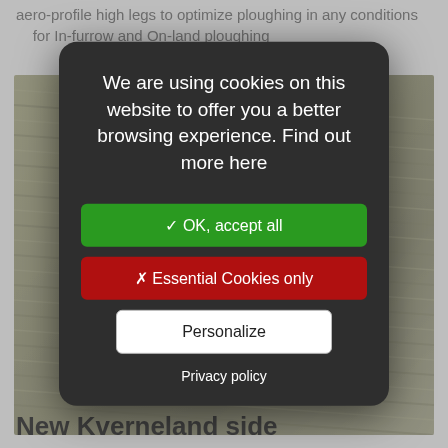aero-profile high legs to optimize ploughing in any conditions    for In-furrow and On-land ploughing
[Figure (photo): Aerial or close-up photograph of ploughed agricultural field showing furrow patterns, in muted olive/brown tones]
We are using cookies on this website to offer you a better browsing experience. Find out more here
✓ OK, accept all
✗ Essential Cookies only
Personalize
Privacy policy
New Kverneland side